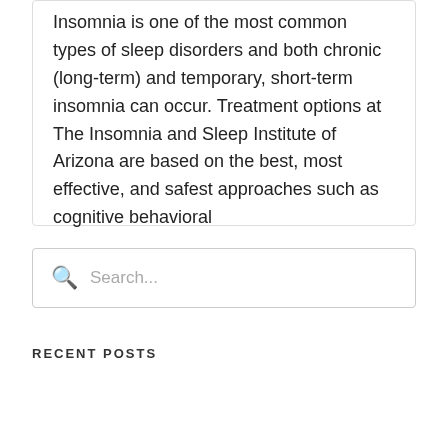Insomnia is one of the most common types of sleep disorders and both chronic (long-term) and temporary, short-term insomnia can occur. Treatment options at The Insomnia and Sleep Institute of Arizona are based on the best, most effective, and safest approaches such as cognitive behavioral
Search...
RECENT POSTS